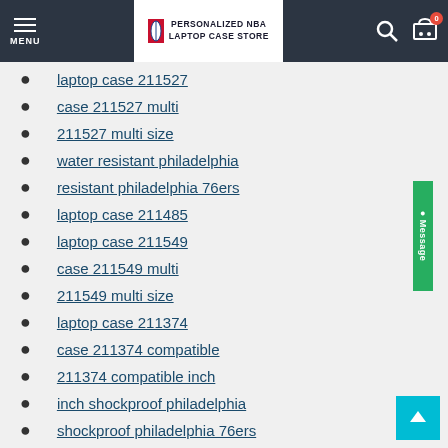PERSONALIZED NBA LAPTOP CASE STORE
laptop case 211527
case 211527 multi
211527 multi size
water resistant philadelphia
resistant philadelphia 76ers
laptop case 211485
laptop case 211549
case 211549 multi
211549 multi size
laptop case 211374
case 211374 compatible
211374 compatible inch
inch shockproof philadelphia
shockproof philadelphia 76ers
laptop case 211325
case 211325 briefcase
laptop case 211584
case 211584 shock